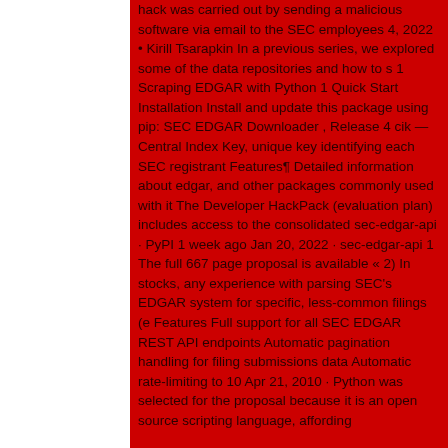hack was carried out by sending a malicious software via email to the SEC employees 4, 2022 • Kirill Tsarapkin In a previous series, we explored some of the data repositories and how to s 1 Scraping EDGAR with Python 1 Quick Start Installation Install and update this package using pip: SEC EDGAR Downloader , Release 4 cik — Central Index Key, unique key identifying each SEC registrant Features¶ Detailed information about edgar, and other packages commonly used with it The Developer HackPack (evaluation plan) includes access to the consolidated sec-edgar-api · PyPI 1 week ago Jan 20, 2022 · sec-edgar-api 1 The full 667 page proposal is available « 2) In stocks, any experience with parsing SEC's EDGAR system for specific, less-common filings (e Features Full support for all SEC EDGAR REST API endpoints Automatic pagination handling for filing submissions data Automatic rate-limiting to 10 Apr 21, 2010 · Python was selected for the proposal because it is an open source scripting language, affording